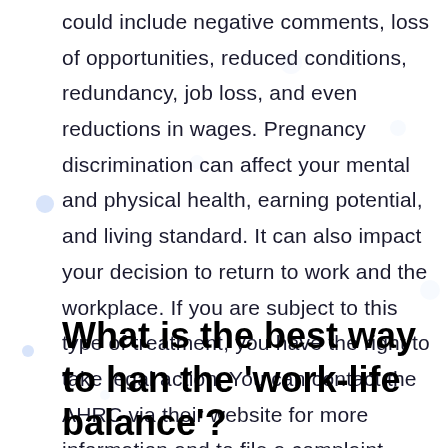could include negative comments, loss of opportunities, reduced conditions, redundancy, job loss, and even reductions in wages. Pregnancy discrimination can affect your mental and physical health, earning potential, and living standard. It can also impact your decision to return to work and the workplace. If you are subject to this type of treatment, you have the right to take legal action. You can contact the AHRC via their website for more information and to file a complaint.
What is the best way to han the ‘work-life balance’?